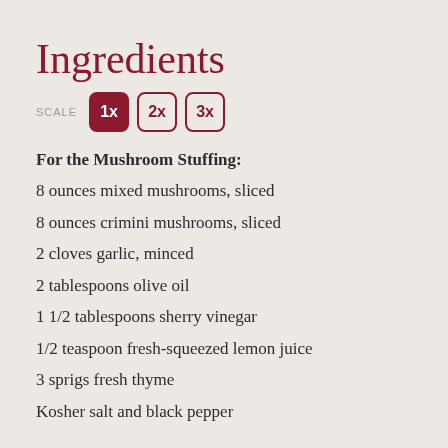Ingredients
SCALE 1x 2x 3x
For the Mushroom Stuffing:
8 ounces mixed mushrooms, sliced
8 ounces crimini mushrooms, sliced
2 cloves garlic, minced
2 tablespoons olive oil
1 1/2 tablespoons sherry vinegar
1/2 teaspoon fresh-squeezed lemon juice
3 sprigs fresh thyme
Kosher salt and black pepper